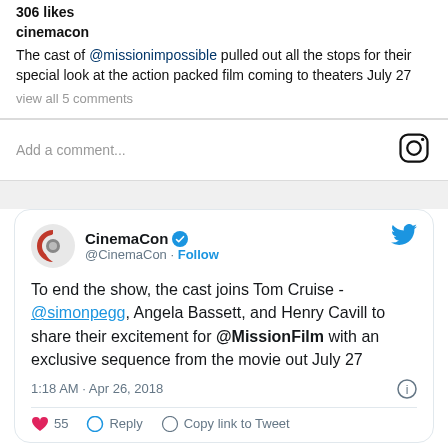306 likes
cinemacon
The cast of @missionimpossible pulled out all the stops for their special look at the action packed film coming to theaters July 27
view all 5 comments
Add a comment...
CinemaCon @CinemaCon · Follow
To end the show, the cast joins Tom Cruise - @simonpegg, Angela Bassett, and Henry Cavill to share their excitement for @MissionFilm with an exclusive sequence from the movie out July 27
1:18 AM · Apr 26, 2018
55  Reply  Copy link to Tweet